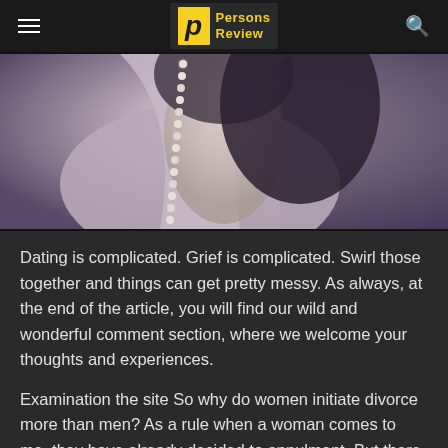Persons Review
[Figure (photo): Close-up photo of a woman wearing a grey draped dress with a pearl necklace, dark hair visible, dark background.]
Dating is complicated. Grief is complicated. Swirl those together and things can get pretty messy. As always, at the end of the article, you will find our wild and wonderful comment section, where we welcome your thoughts and experiences.
Examination the site So why do women initiate divorce more than men? As a rule when a woman comes to me, they have already decided to annulment. But there are times that I wonder if that divorce was basic, or was it just easier? After